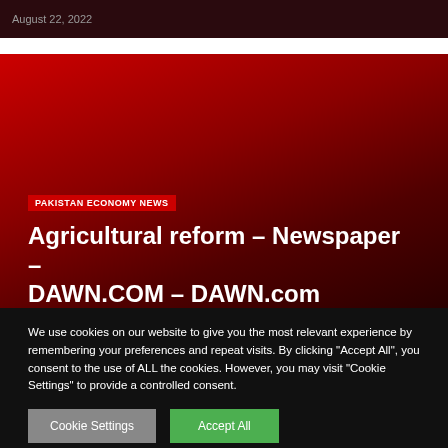August 22, 2022
[Figure (photo): Red gradient hero banner background for DAWN.com article]
PAKISTAN ECONOMY NEWS
Agricultural reform – Newspaper – DAWN.COM – DAWN.com
We use cookies on our website to give you the most relevant experience by remembering your preferences and repeat visits. By clicking "Accept All", you consent to the use of ALL the cookies. However, you may visit "Cookie Settings" to provide a controlled consent.
Cookie Settings | Accept All